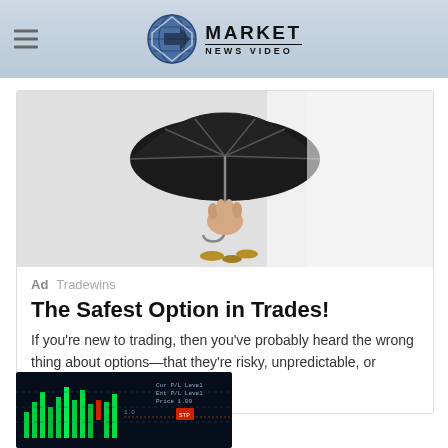MARKET NEWS VIDEO
[Figure (photo): Hand holding a black umbrella with coins at base, on white background - representing safe investment/protection]
Ad  Tradewins
The Safest Option in Trades!
If you're new to trading, then you've probably heard the wrong thing about options—that they're risky, unpredictable, or difficult....
[Figure (photo): Stock market trading screen showing green candlestick charts and financial data]